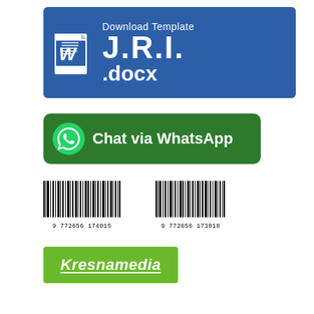[Figure (logo): Microsoft Word icon with 'Download Template J.R.I. .docx' text on blue background banner]
[Figure (logo): WhatsApp chat button: green rounded rectangle with WhatsApp logo and 'Chat via WhatsApp' text]
[Figure (other): Two barcodes side by side: 9772656174015 and 9772656173018]
[Figure (logo): Kresnamedia logo: green rounded rectangle with white italic underlined text 'Kresnamedia']